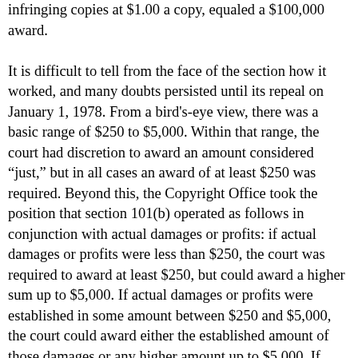infringing copies at $1.00 a copy, equaled a $100,000 award. It is difficult to tell from the face of the section how it worked, and many doubts persisted until its repeal on January 1, 1978. From a bird's-eye view, there was a basic range of $250 to $5,000. Within that range, the court had discretion to award an amount considered "just," but in all cases an award of at least $250 was required. Beyond this, the Copyright Office took the position that section 101(b) operated as follows in conjunction with actual damages or profits: if actual damages or profits were less than $250, the court was required to award at least $250, but could award a higher sum up to $5,000. If actual damages or profits were established in some amount between $250 and $5,000, the court could award either the established amount of those damages or any higher amount up to $5,000. If actual damages or profits were established in excess of $5,000, the court had to award that amount and could not award statutory damages, except where the infringement was willful, in which case there was no limit on the amount of statutory damages that could be awarded. There were also a number of special statutory damages provisions: motion picture companies that innocently infringed a dramatic work